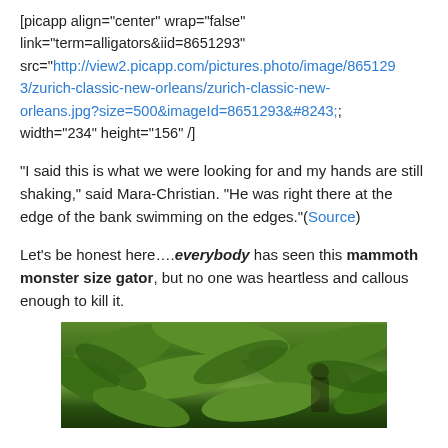[picapp align="center" wrap="false" link="term=alligators&iid=8651293" src="http://view2.picapp.com/pictures.photo/image/8651293/zurich-classic-new-orleans/zurich-classic-new-orleans.jpg?size=500&imageId=8651293&#8243; width="234" height="156" /]
“I said this is what we were looking for and my hands are still shaking,” said Mara-Christian. “He was right there at the edge of the bank swimming on the edges.”(Source)
Let’s be honest here....everybody has seen this mammoth monster size gator, but no one was heartless and callous enough to kill it.
[Figure (photo): Photo showing dense tropical green foliage with what appears to be a person or animal partially visible among large leaves]